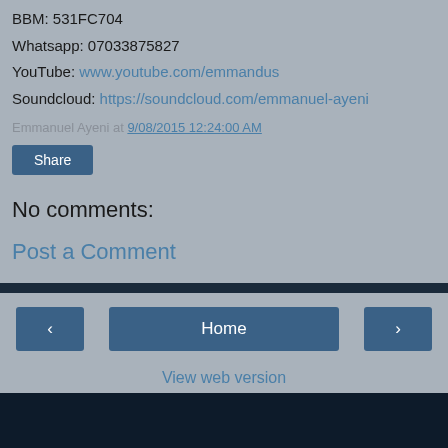BBM: 531FC704
Whatsapp: 07033875827
YouTube: www.youtube.com/emmandus
Soundcloud: https://soundcloud.com/emmanuel-ayeni
Emmanuel Ayeni at 9/08/2015 12:24:00 AM
Share
No comments:
Post a Comment
< Home > View web version